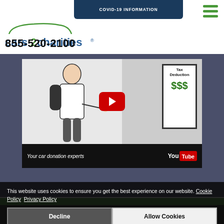COVID-19 INFORMATION
[Figure (logo): cars2charities logo with green car silhouette and green/blue text]
855-520-2100
[Figure (screenshot): YouTube video embed thumbnail showing cartoon person pointing at Tax Deduction $$$ sign, with play button overlay. Caption: Your car donation experts]
This website uses cookies to ensure you get the best experience on our website. Cookie Policy  Privacy Policy
Decline
Allow Cookies